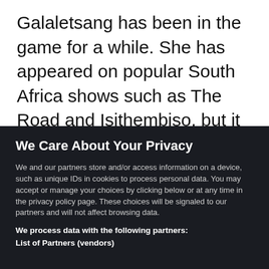Galaletsang has been in the game for a while. She has appeared on popular South Africa shows such as The Road and Isithembiso, but it is her
We Care About Your Privacy
We and our partners store and/or access information on a device, such as unique IDs in cookies to process personal data. You may accept or manage your choices by clicking below or at any time in the privacy policy page. These choices will be signaled to our partners and will not affect browsing data.
We process data with the following partners:
List of Partners (vendors)
I Accept
Manage Cookies